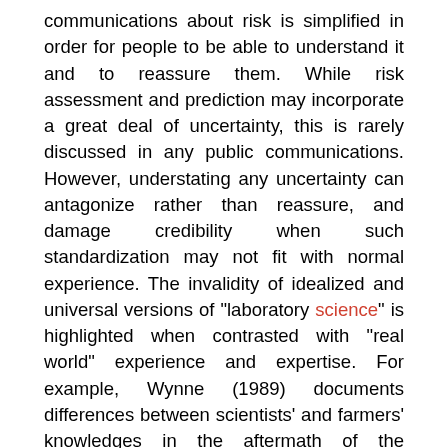communications about risk is simplified in order for people to be able to understand it and to reassure them. While risk assessment and prediction may incorporate a great deal of uncertainty, this is rarely discussed in any public communications. However, understating any uncertainty can antagonize rather than reassure, and damage credibility when such standardization may not fit with normal experience. The invalidity of idealized and universal versions of "laboratory science" is highlighted when contrasted with "real world" experience and expertise. For example, Wynne (1989) documents differences between scientists' and farmers' knowledges in the aftermath of the Chernobyl accident. Concerns about the spread of radiation led to controversial restrictions being placed on farming practices and the movement and sale of livestock in the UK. However, the abstract knowledge